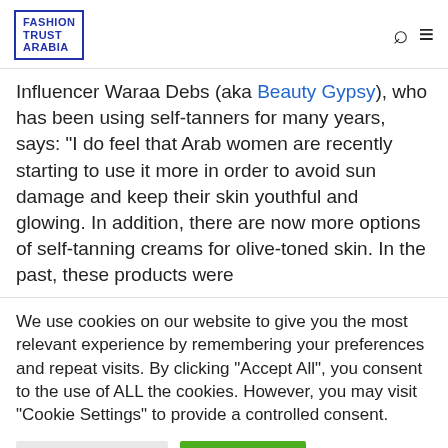FASHION TRUST ARABIA
Influencer Waraa Debs (aka Beauty Gypsy), who has been using self-tanners for many years, says: “I do feel that Arab women are recently starting to use it more in order to avoid sun damage and keep their skin youthful and glowing. In addition, there are now more options of self-tanning creams for olive-toned skin. In the past, these products were
We use cookies on our website to give you the most relevant experience by remembering your preferences and repeat visits. By clicking “Accept All”, you consent to the use of ALL the cookies. However, you may visit "Cookie Settings" to provide a controlled consent.